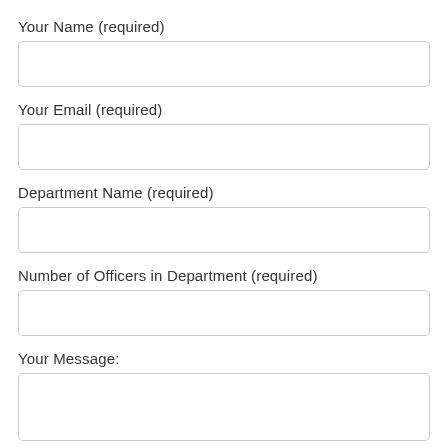Your Name (required)
Your Email (required)
Department Name (required)
Number of Officers in Department (required)
Your Message: